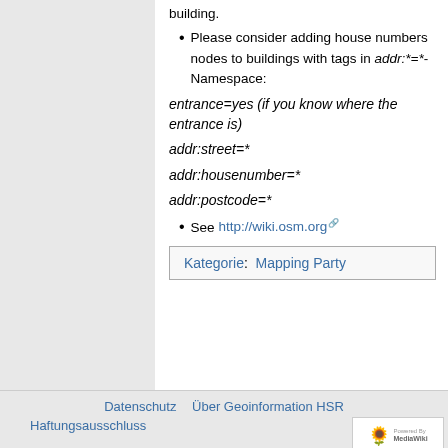building.
Please consider adding house numbers nodes to buildings with tags in addr:*=*-Namespace:
entrance=yes (if you know where the entrance is)
addr:street=*
addr:housenumber=*
addr:postcode=*
See http://wiki.osm.org
Kategorie: Mapping Party
Datenschutz   Über Geoinformation HSR   Haftungsausschluss